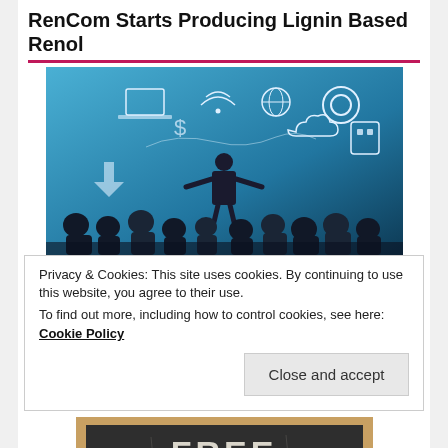RenCom Starts Producing Lignin Based Renol
[Figure (photo): Conference/presentation scene: silhouette of a presenter standing before a large illuminated screen showing technology and innovation icons (laptop, gears, wifi, globe, finance symbols), with audience silhouettes seated in foreground.]
Privacy & Cookies: This site uses cookies. By continuing to use this website, you agree to their use.
To find out more, including how to control cookies, see here: Cookie Policy
Close and accept
[Figure (photo): A chalkboard with the word FREE written in chalk-style lettering, with a wooden frame border.]